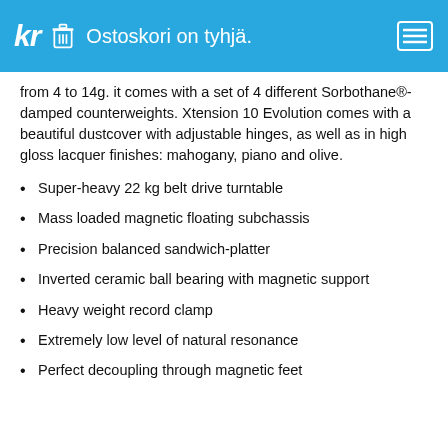kr  Ostoskori on tyhjä.
from 4 to 14g. it comes with a set of 4 different Sorbothane®- damped counterweights. Xtension 10 Evolution comes with a beautiful dustcover with adjustable hinges, as well as in high gloss lacquer finishes: mahogany, piano and olive.
Super-heavy 22 kg belt drive turntable
Mass loaded magnetic floating subchassis
Precision balanced sandwich-platter
Inverted ceramic ball bearing with magnetic support
Heavy weight record clamp
Extremely low level of natural resonance
Perfect decoupling through magnetic feet